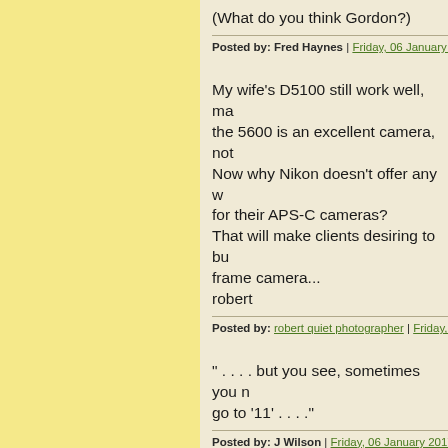(What do you think Gordon?)
Posted by: Fred Haynes | Friday, 06 January 2017 at 1...
My wife's D5100 still work well, ma... the 5600 is an excellent camera, not... Now why Nikon doesn't offer any w... for their APS-C cameras?
That will make clients desiring to bu... frame camera...
robert
Posted by: robert quiet photographer | Friday, 06 Jan...
" . . . . but you see, sometimes you n... go to '11' . . . ."
Posted by: J Wilson | Friday, 06 January 2017 at 12:50
>>You were meant to write comedy.